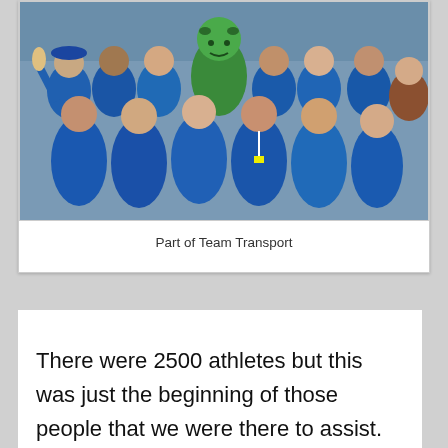[Figure (photo): Group photo of people wearing blue jackets and lanyards, posing together with a green mascot costume character in the center background. They appear to be Olympic volunteers or staff — Part of Team Transport.]
Part of Team Transport
There were 2500 athletes but this was just the beginning of those people that we were there to assist. For every athlete there were an astounding 10 accredited media and 10 accredited Olympic sponsor agents. There were also thousands of coaches, trainers, equipment managers, immediate family